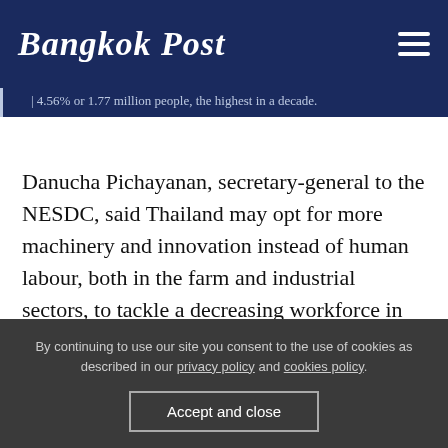Bangkok Post
4.56% or 1.77 million people, the highest in a decade.
Danucha Pichayanan, secretary-general to the NESDC, said Thailand may opt for more machinery and innovation instead of human labour, both in the farm and industrial sectors, to tackle a decreasing workforce in the future.
"The Board of Investment offers privileges to
By continuing to use our site you consent to the use of cookies as described in our privacy policy and cookies policy.
Accept and close